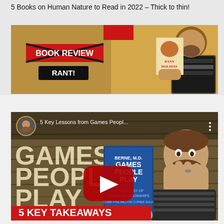5 Books on Human Nature to Read in 2022 – Thick to thin!
[Figure (screenshot): YouTube thumbnail for book review rant. Shows 'BOOK REVIEW' text crossed out with X, 'RANT!' label below, and Ryan Holiday book cover being held on the right side. Yellow/brown background.]
[Figure (screenshot): YouTube video thumbnail for '5 Key Lessons from Games People Play'. Shows large text 'GAMES PEOPLE PLAY' on wooden background, a person covering mouth in surprise, holding a blue book 'Games People Play' by Berne M.D., YouTube play button in center, and red banner '5 KEY TAKEAWAYS' at bottom.]